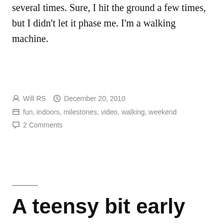several times. Sure, I hit the ground a few times, but I didn’t let it phase me. I’m a walking machine.
Posted by Will RS  December 20, 2010
Categories: fun, indoors, milestones, video, walking, weekend
2 Comments
A teensy bit early